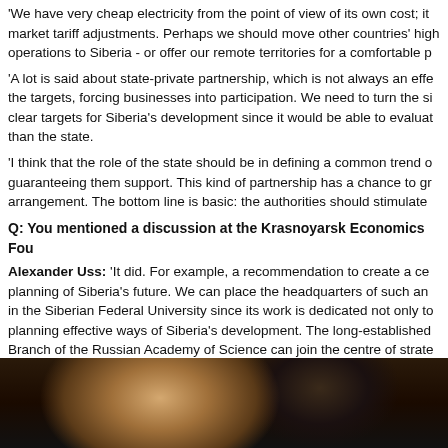'We have very cheap electricity from the point of view of its own cost; it... market tariff adjustments. Perhaps we should move other countries' high... operations to Siberia - or offer our remote territories for a comfortable p...
'A lot is said about state-private partnership, which is not always an effe... the targets, forcing businesses into participation. We need to turn the si... clear targets for Siberia's development since it would be able to evaluat... than the state.
'I think that the role of the state should be in defining a common trend o... guaranteeing them support. This kind of partnership has a chance to gr... arrangement. The bottom line is basic: the authorities should stimulate ...
Q: You mentioned a discussion at the Krasnoyarsk Economics Fou...
Alexander Uss: 'It did. For example, a recommendation to create a ce... planning of Siberia's future. We can place the headquarters of such an... in the Siberian Federal University since its work is dedicated not only to... planning effective ways of Siberia's development. The long-established... Branch of the Russian Academy of Science can join the centre of strate...
'Education is a very important subject for us, too. The time has come to... in Siberia and the Far East of Russia with subjects taught in English. Tu... centre is possible and would take far less finances than building a bridg... strait. And it is more important in attracting people'.
[Figure (photo): A photograph of a person, partially visible at the bottom of the page, dark background with silhouette.]